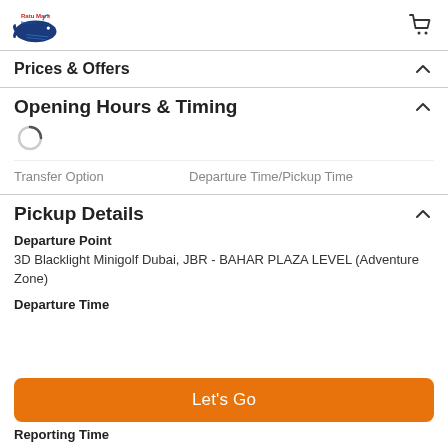[Logo] [Cart icon]
Prices & Offers
Opening Hours & Timing
[Figure (other): Loading spinner arc]
Transfer Option   Departure Time/Pickup Time
Pickup Details
Departure Point
3D Blacklight Minigolf Dubai, JBR - BAHAR PLAZA LEVEL (Adventure Zone)
Departure Time
Let's Go
Reporting Time